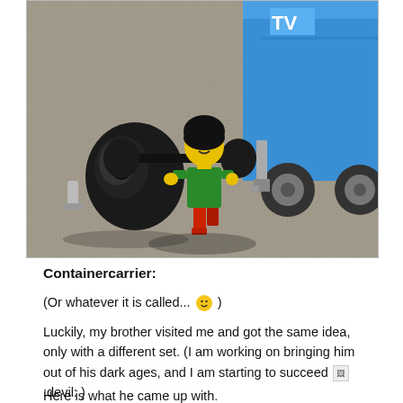[Figure (photo): A LEGO minifigure wearing a green top and red pants, carrying a black barbell/camera equipment. In the background is a blue LEGO vehicle/truck. The scene is set on a gray carpet.]
Containercarrier:
(Or whatever it is called... 😊 )
Luckily, my brother visited me and got the same idea, only with a different set. (I am working on bringing him out of his dark ages, and I am starting to succeed 🖼:devil: )
Here is what he came up with.